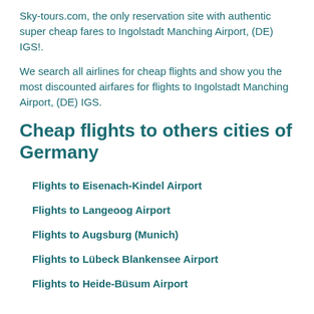Sky-tours.com, the only reservation site with authentic super cheap fares to Ingolstadt Manching Airport, (DE) IGS!.
We search all airlines for cheap flights and show you the most discounted airfares for flights to Ingolstadt Manching Airport, (DE) IGS.
Cheap flights to others cities of Germany
Flights to Eisenach-Kindel Airport
Flights to Langeoog Airport
Flights to Augsburg (Munich)
Flights to Lübeck Blankensee Airport
Flights to Heide-Büsum Airport